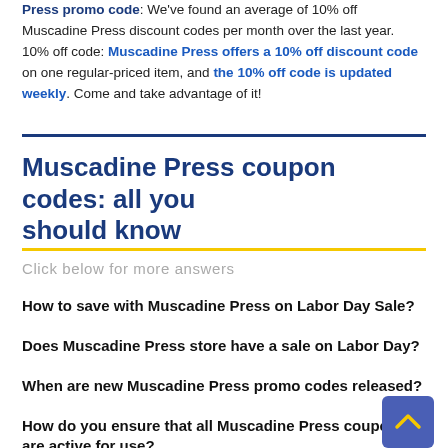Press promo code: We've found an average of 10% off Muscadine Press discount codes per month over the last year. 10% off code: Muscadine Press offers a 10% off discount code on one regular-priced item, and the 10% off code is updated weekly. Come and take advantage of it!
Muscadine Press coupon codes: all you should know
Click below for more answers
How to save with Muscadine Press on Labor Day Sale?
Does Muscadine Press store have a sale on Labor Day?
When are new Muscadine Press promo codes released?
How do you ensure that all Muscadine Press coupons are active for use?